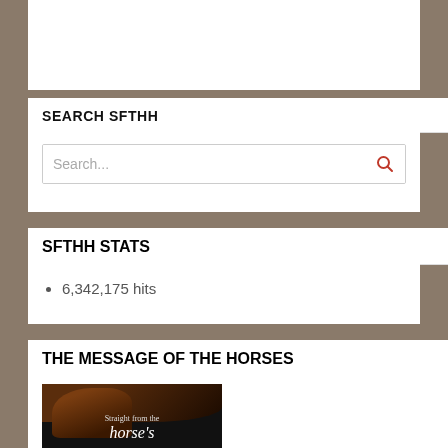SEARCH SFTHH
Search...
SFTHH STATS
6,342,175 hits
THE MESSAGE OF THE HORSES
[Figure (illustration): Book cover for 'Straight from the horse's heart' showing a horse's head silhouette against a dark background]